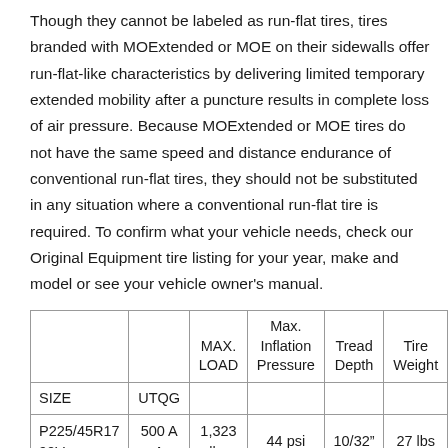Though they cannot be labeled as run-flat tires, tires branded with MOExtended or MOE on their sidewalls offer run-flat-like characteristics by delivering limited temporary extended mobility after a puncture results in complete loss of air pressure. Because MOExtended or MOE tires do not have the same speed and distance endurance of conventional run-flat tires, they should not be substituted in any situation where a conventional run-flat tire is required. To confirm what your vehicle needs, check our Original Equipment tire listing for your year, make and model or see your vehicle owner's manual.
| SIZE | UTQG | MAX. LOAD | Max. Inflation Pressure | Tread Depth | Tire Weight |
| --- | --- | --- | --- | --- | --- |
| P225/45R17 90V | 500 A A | 1,323 lbs | 44 psi | 10/32" | 27 lbs |